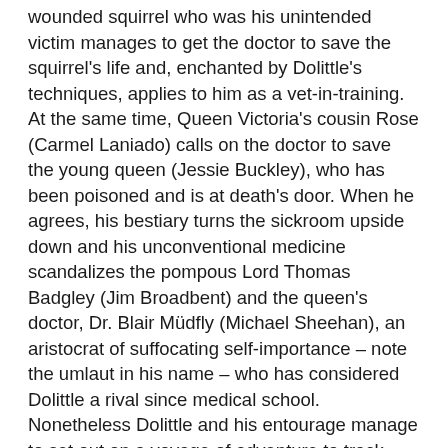wounded squirrel who was his unintended victim manages to get the doctor to save the squirrel's life and, enchanted by Dolittle's techniques, applies to him as a vet-in-training. At the same time, Queen Victoria's cousin Rose (Carmel Laniado) calls on the doctor to save the young queen (Jessie Buckley), who has been poisoned and is at death's door. When he agrees, his bestiary turns the sickroom upside down and his unconventional medicine scandalizes the pompous Lord Thomas Badgley (Jim Broadbent) and the queen's doctor, Dr. Blair Müdfly (Michael Sheehan), an aristocrat of suffocating self-importance – note the umlaut in his name – who has considered Dolittle a rival since medical school. Nonetheless Dolittle and his entourage manage to set out on a voyage of adventure to track down the antidote to the drug that has laid the queen low.  To do so requires him to locate Lily's notebook.  But it's in the keeping of her father, the pirate king Rassouli (Antonio Banderas), who holds Dolittle responsible for her fate. (She died in a shipwreck.) To complicate things further, the villainous Badgley sends Müdfly out with a crew to find the antidote first and make sure that Victoria never receives it.
Did the movie's detractors pay any attention to what